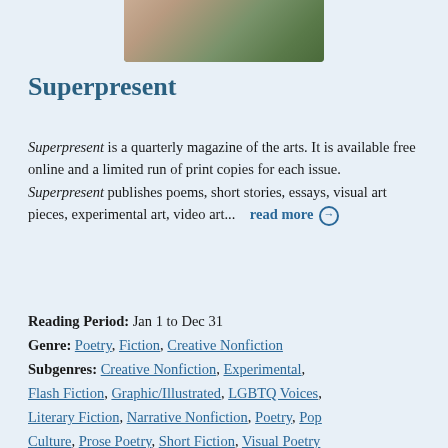[Figure (photo): Cropped photo at top showing hands holding green leaves/plant against a wooden background]
Superpresent
Superpresent is a quarterly magazine of the arts. It is available free online and a limited run of print copies for each issue. Superpresent publishes poems, short stories, essays, visual art pieces, experimental art, video art...  read more →
Reading Period: Jan 1 to Dec 31
Genre: Poetry, Fiction, Creative Nonfiction
Subgenres: Creative Nonfiction, Experimental, Flash Fiction, Graphic/Illustrated, LGBTQ Voices, Literary Fiction, Narrative Nonfiction, Poetry, Pop Culture, Prose Poetry, Short Fiction, Visual Poetry